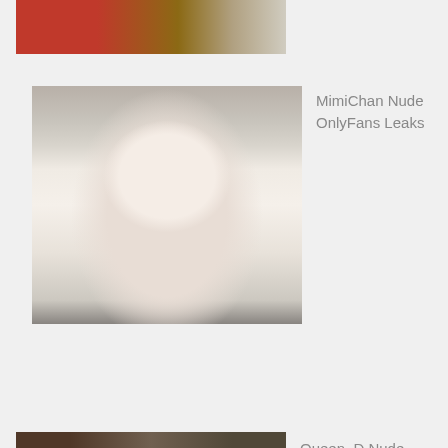[Figure (photo): Partial thumbnail of a person with pink/magenta top and brown wavy hair, cropped at top of page]
[Figure (photo): Close-up portrait of a young woman with silver/gray straight hair with bangs, large dark eyes with heavy lashes, and pink lips]
MimiChan Nude OnlyFans Leaks
[Figure (photo): Partial thumbnail at bottom of page, dark toned image, person partially visible]
Queen_D Nude